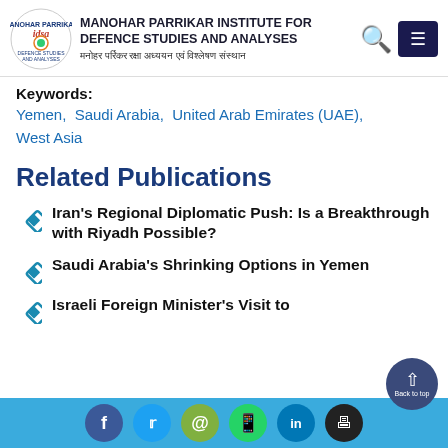Manohar Parrikar Institute for Defence Studies and Analyses | मनोहर पर्रिकर रक्षा अध्ययन एवं विश्लेषण संस्थान
Keywords: Yemen, Saudi Arabia, United Arab Emirates (UAE), West Asia
Related Publications
Iran's Regional Diplomatic Push: Is a Breakthrough with Riyadh Possible?
Saudi Arabia's Shrinking Options in Yemen
Israeli Foreign Minister's Visit to
Social share bar: Facebook, Twitter, Email, WhatsApp, LinkedIn, Print | Back to top